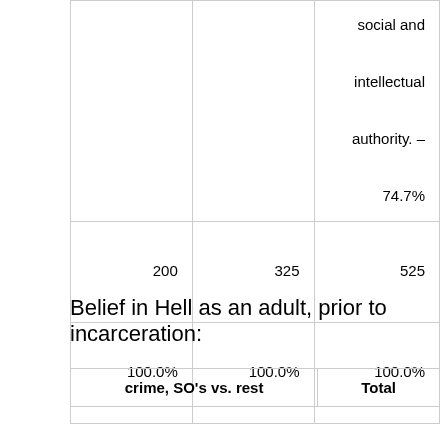|  |  |  |
| --- | --- | --- |
|  |  | social and

intellectual

authority. –

74.7% |
| 200 | 325 | 525 |
| 100.0% | 100.0% | 100.0% |
Belief in Hell as an adult, prior to incarceration:
| crime, SO's vs. rest | Total |
| --- | --- |